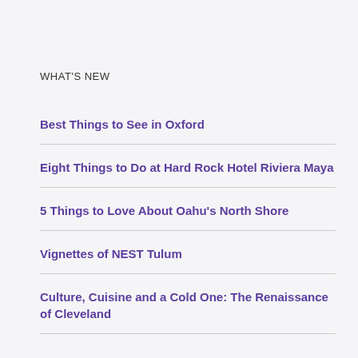WHAT'S NEW
Best Things to See in Oxford
Eight Things to Do at Hard Rock Hotel Riviera Maya
5 Things to Love About Oahu's North Shore
Vignettes of NEST Tulum
Culture, Cuisine and a Cold One: The Renaissance of Cleveland